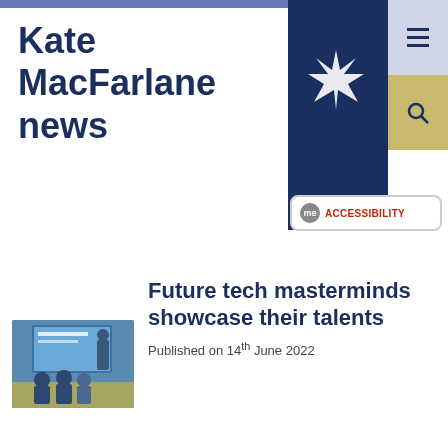Kate MacFarlane news
[Figure (logo): University star/flame logo on dark navy background]
[Figure (screenshot): me ACCESSIBILITY button with speech bubble icon]
[Figure (photo): Group of students working at a table with a presentation screen in the background]
Future tech masterminds showcase their talents
Published on 14th June 2022